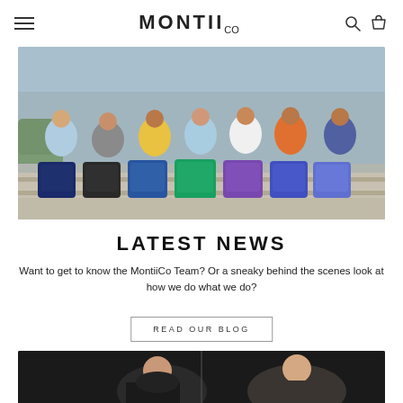MontiiCo — navigation header with hamburger menu, logo, search and cart icons
[Figure (photo): Group of school children sitting on bleachers with colorful MontiiCo backpacks in front of them — navy, black, blue, green, purple patterns]
LATEST NEWS
Want to get to know the MontiiCo Team? Or a sneaky behind the scenes look at how we do what we do?
READ OUR BLOG
[Figure (photo): Two women smiling, partially visible at bottom of page, dark background]